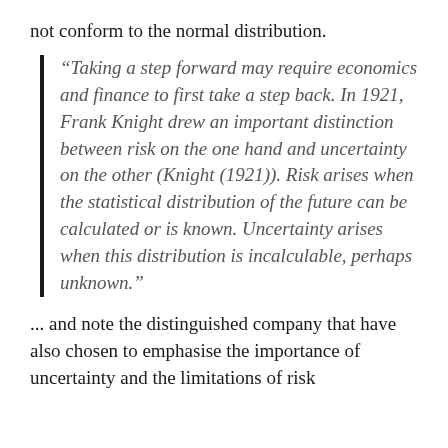not conform to the normal distribution.
“Taking a step forward may require economics and finance to first take a step back. In 1921, Frank Knight drew an important distinction between risk on the one hand and uncertainty on the other (Knight (1921)). Risk arises when the statistical distribution of the future can be calculated or is known. Uncertainty arises when this distribution is incalculable, perhaps unknown.”
... and note the distinguished company that have also chosen to emphasise the importance of uncertainty and the limitations of risk